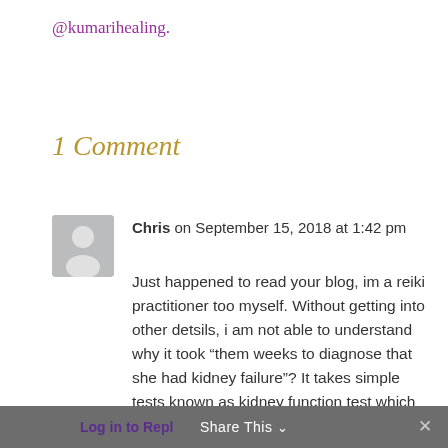@kumarihealing.
1 Comment
Chris on September 15, 2018 at 1:42 pm
Just happened to read your blog, im a reiki practitioner too myself. Without getting into other detsils, i am not able to understand why it took “them weeks to diagnose that she had kidney failure”? It takes simple tests known as kidney function test which consists of two tests in fact – ACR and GFR and these are quick tests.
Log in to Reply  Share This  ✕